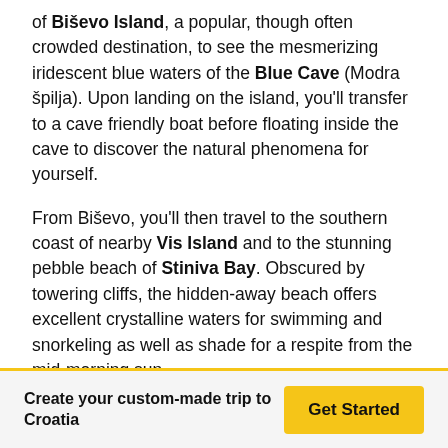of Biševo Island, a popular, though often crowded destination, to see the mesmerizing iridescent blue waters of the Blue Cave (Modra špilja). Upon landing on the island, you'll transfer to a cave friendly boat before floating inside the cave to discover the natural phenomena for yourself.
From Biševo, you'll then travel to the southern coast of nearby Vis Island and to the stunning pebble beach of Stiniva Bay. Obscured by towering cliffs, the hidden-away beach offers excellent crystalline waters for swimming and snorkeling as well as shade for a respite from the mid-morning sun.
When you're ready, you'll hoist anchor and continue your journey around Vis to the fishing village of Komiža. An incredibly picturesque Mediterranean town, Komiža is made
Create your custom-made trip to Croatia
Get Started